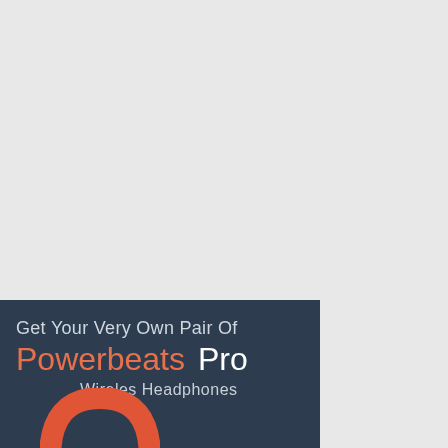[Figure (illustration): Advertisement banner at bottom-left of page on a light gray background. Dark navy/slate blue rectangle containing text: 'Get Your Very Own Pair Of' on first line, 'Powerbeats Pro' on second line (Powerbeats in orange/coral, Pro in white), 'Wireles Headphones' on third line in light gray. A partial red/orange circular headphone arc is visible at the bottom of the banner.]